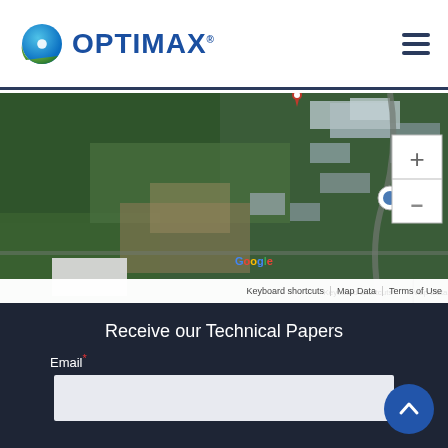[Figure (logo): Optimax logo with blue/green globe icon and OPTIMAX text in blue]
[Figure (map): Google Maps satellite view showing Optimax facility location with zoom controls, red pin marker, and map attribution bar showing Keyboard shortcuts, Map Data, Terms of Use]
Receive our Technical Papers
Email*
[Figure (other): Empty text input field for email address]